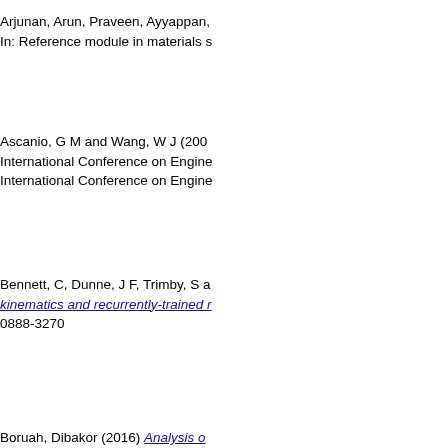Arjunan, Arun, Praveen, Ayyappan… In: Reference module in materials s…
Ascanio, G M and Wang, W J (2007)… International Conference on Engine… International Conference on Engine…
Bennett, C, Dunne, J F, Trimby, S a… kinematics and recurrently-trained r… 0888-3270
Boruah, Dibakor (2016) Analysis o… University of Sussex.
Cao, Ying, Shi, Tianshu, Jiao, Cher… Wang, Changjiang and Shen, Lida … on digital light processing. Ceramic…
Chen, Guoqiang and Dunne, J F (2… response functions. Journal of Sou…
Chen, Junjie, Zang, Chaoping, Zho… analysis of bladed discs with root jo… Mechanical Engineering Science, 2…
Cheng, Li, Dimitriou, Pavlos, Wang…